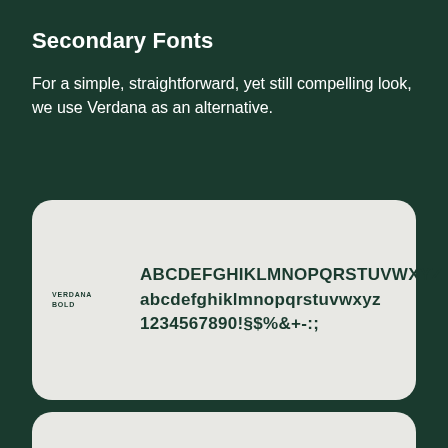Secondary Fonts
For a simple, straightforward, yet still compelling look, we use Verdana as an alternative.
[Figure (illustration): A rounded rectangle card on a dark green background showing Verdana Bold font specimen with uppercase alphabet ABCDEFGHIKLMNOPQRSTUVWXYZ, lowercase alphabet abcdefghiklmnopqrstuvwxyz, and numbers/symbols 1234567890!§$%&+-:; with a label 'VERDANA BOLD' on the left.]
[Figure (illustration): A partial rounded rectangle card visible at the bottom of the page on a dark green background, showing the top portion only.]